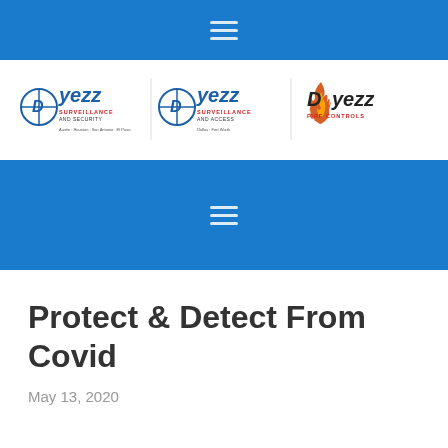[Figure (logo): Blue navigation bar with hamburger menu icon at top]
[Figure (logo): Three Dyezz company logos: Dyezz Surveillance and Security (Austin, Houston, San Antonio, El Paso), Dyezz Surveillance and Access (Dallas, Fort Worth), and Dyezz Fire Controls]
[Figure (infographic): Blue banner section with hamburger menu icon]
Protect & Detect From Covid
May 13, 2020